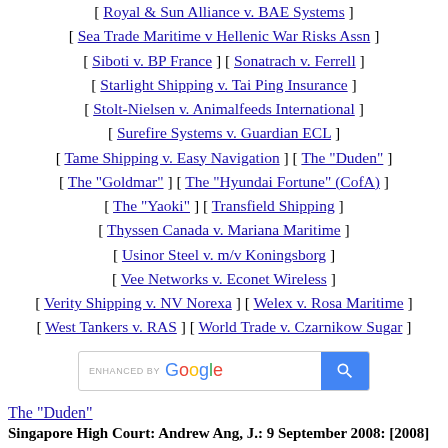[ Royal & Sun Alliance v. BAE Systems ]
[ Sea Trade Maritime v Hellenic War Risks Assn ]
[ Siboti v. BP France ] [ Sonatrach v. Ferrell ]
[ Starlight Shipping v. Tai Ping Insurance ]
[ Stolt-Nielsen v. Animalfeeds International ]
[ Surefire Systems v. Guardian ECL ]
[ Tame Shipping v. Easy Navigation ] [ The "Duden" ]
[ The "Goldmar" ] [ The "Hyundai Fortune" (CofA) ]
[ The "Yaoki" ] [ Transfield Shipping ]
[ Thyssen Canada v. Mariana Maritime ]
[ Usinor Steel v. m/v Koningsborg ]
[ Vee Networks v. Econet Wireless ]
[ Verity Shipping v. NV Norexa ] [ Welex v. Rosa Maritime ]
[ West Tankers v. RAS ] [ World Trade v. Czarnikow Sugar ]
[Figure (screenshot): Enhanced by Google search bar with blue search button]
The "Duden"
Singapore High Court: Andrew Ang, J.: 9 September 2008: [2008] SGHC 149
ADMIRALTY AND SHIPPING: CLAIM FOR CARGO DAMAGE UNDER BILL OF LADING INCORPORATING ARBITRATION CLAUSE OF CHARTERPARTY BUT